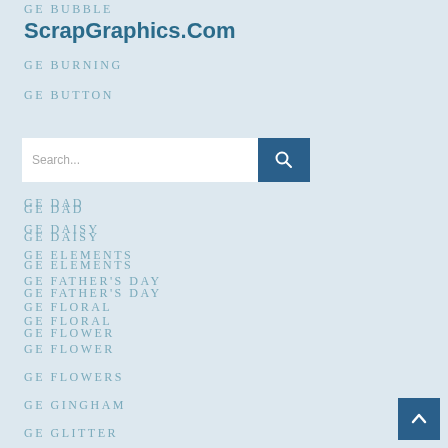GE BUBBLE
ScrapGraphics.Com
GE BURNING
GE BUTTON
GE CHRISTMAS
[Figure (screenshot): Search bar with text field and blue search button]
GE DAD
GE DAISY
GE ELEMENTS
GE FATHER'S DAY
GE FLORAL
GE FLOWER
GE FLOWERS
GE GINGHAM
GE GLITTER
GE GOLD
GE GREY
GE HAT
GE HERO
GE LABEL
GE LEAF
GE LEAVES